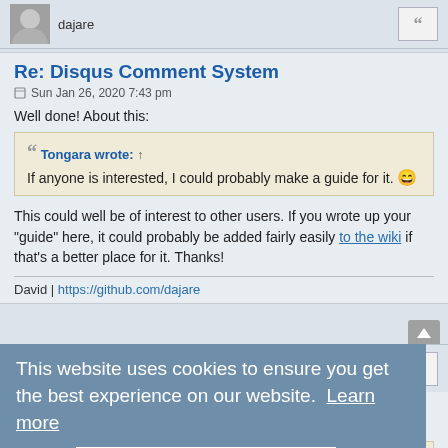dajare
Re: Disqus Comment System
Sun Jan 26, 2020 7:43 pm
Well done! About this:
Tongara wrote: ↑
If anyone is interested, I could probably make a guide for it. 😄
This could well be of interest to other users. If you wrote up your "guide" here, it could probably be added fairly easily to the wiki if that's a better place for it. Thanks!
David | https://github.com/dajare
This website uses cookies to ensure you get the best experience on our website. Learn more
Got it!
Re: Disqus Comment System
Mon Jan 27, 2020 2:51 am
Tongara wrote: ↑